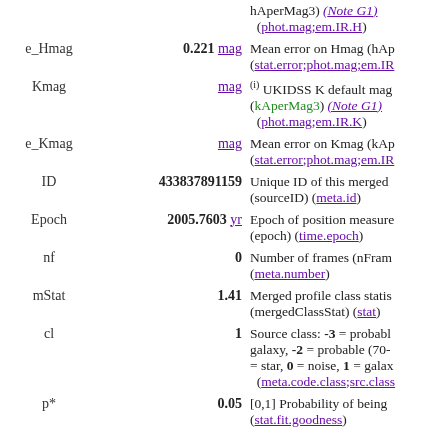| Name | Value | Description |
| --- | --- | --- |
|  |  | hAperMag3) (Note G1) (phot.mag;em.IR.H) |
| e_Hmag | 0.221 mag | Mean error on Hmag (hAp... (stat.error;phot.mag;em.IR... |
| Kmag | mag | (i) UKIDSS K default mag... (kAperMag3) (Note G1) (phot.mag;em.IR.K) |
| e_Kmag | mag | Mean error on Kmag (kAp... (stat.error;phot.mag;em.IR... |
| ID | 433837891159 | Unique ID of this merged... (sourceID) (meta.id) |
| Epoch | 2005.7603 yr | Epoch of position measure... (epoch) (time.epoch) |
| nf | 0 | Number of frames (nFrame... (meta.number) |
| mStat | 1.41 | Merged profile class statis... (mergedClassStat) (stat) |
| cl | 1 | Source class: -3 = probable galaxy, -2 = probable (70-... = star, 0 = noise, 1 = galaxy... (meta.code.class;src.class... |
| p* | 0.05 | [0,1] Probability of being... (stat.fit.goodness) |